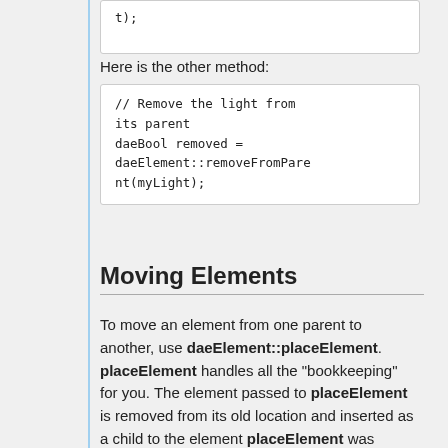[Figure (screenshot): Code block showing: t);]
Here is the other method:
[Figure (screenshot): Code block showing: // Remove the light from its parent
daeBool removed = daeElement::removeFromParent(myLight);]
Moving Elements
To move an element from one parent to another, use daeElement::placeElement. placeElement handles all the "bookkeeping" for you. The element passed to placeElement is removed from its old location and inserted as a child to the element placeElement was called on. If the new parent belongs to a